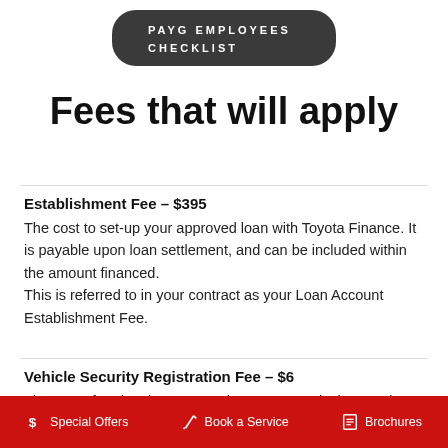PAYG EMPLOYEES CHECKLIST
Fees that will apply
Establishment Fee – $395
The cost to set-up your approved loan with Toyota Finance. It is payable upon loan settlement, and can be included within the amount financed.
This is referred to in your contract as your Loan Account Establishment Fee.
Vehicle Security Registration Fee – $6
The cost of registering Toyota Finance's security interest in your vehicle on the Australian Government's Personal Property
$ Special Offers   Book a Service   Brochures